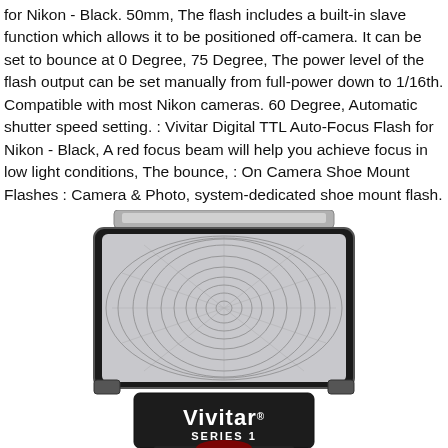for Nikon - Black. 50mm, The flash includes a built-in slave function which allows it to be positioned off-camera. It can be set to bounce at 0 Degree, 75 Degree, The power level of the flash output can be set manually from full-power down to 1/16th. Compatible with most Nikon cameras. 60 Degree, Automatic shutter speed setting. : Vivitar Digital TTL Auto-Focus Flash for Nikon - Black, A red focus beam will help you achieve focus in low light conditions, The bounce, : On Camera Shoe Mount Flashes : Camera & Photo, system-dedicated shoe mount flash.
[Figure (photo): Photo of a Vivitar Series 1 camera flash unit (shoe mount flash) showing the front face with fresnel lens panel and the body with Vivitar Series 1 branding in white text on black body.]